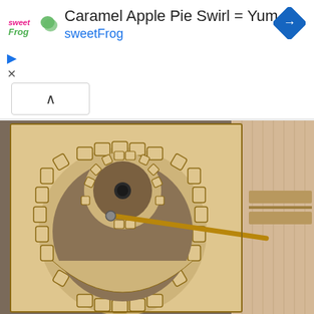[Figure (screenshot): Advertisement banner for sweetFrog featuring the text 'Caramel Apple Pie Swirl = Yum' with sweetFrog logo, blue navigation arrow icon, play and close controls, and a chevron/collapse button below.]
[Figure (photo): Photograph of wooden laser-cut gear mechanism with interlocking gears of different sizes, a metal rod/crank arm, mounted on a wooden board against a gray carpet background.]